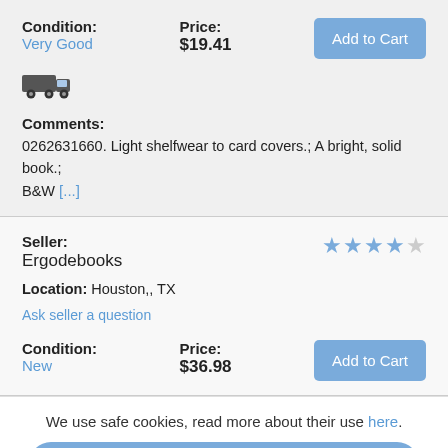Condition: Very Good
Price: $19.41
Add to Cart
[Figure (illustration): Truck/shipping icon]
Comments: 0262631660. Light shelfwear to card covers.; A bright, solid book.; B&W [...]
Seller: Ergodebooks
[Figure (other): 4 out of 5 stars rating]
Location: Houston,, TX
Ask seller a question
Condition: New
Price: $36.98
Add to Cart
We use safe cookies, read more about their use here.
I Consent